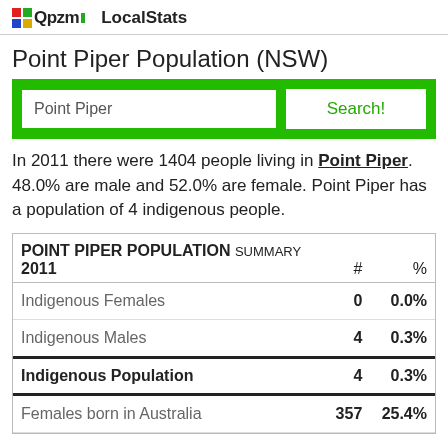Qpzm LocalStats
Point Piper Population (NSW)
Point Piper | Search!
In 2011 there were 1404 people living in Point Piper. 48.0% are male and 52.0% are female. Point Piper has a population of 4 indigenous people.
| POINT PIPER POPULATION SUMMARY 2011 | # | % |
| --- | --- | --- |
| Indigenous Females | 0 | 0.0% |
| Indigenous Males | 4 | 0.3% |
| Indigenous Population | 4 | 0.3% |
| Females born in Australia | 357 | 25.4% |